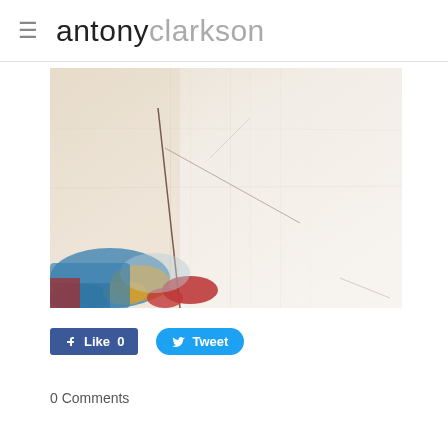antony clarkson
[Figure (photo): Close-up photograph of an abstract painting showing textured white/cream canvas with brushstrokes, and a small area in the lower-left corner with blue, red, yellow, and transparent paint colors.]
Like 0   Tweet
0 Comments